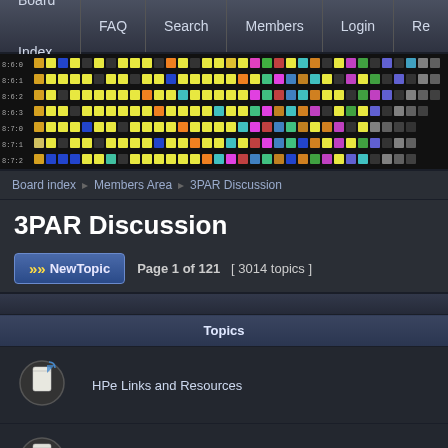Board Index   FAQ   Search   Members   Login   Re
[Figure (infographic): Colorful grid of squares resembling a storage array visualization with row labels 8:6:0, 8:6:1, 8:6:2, 8:6:3, 8:7:0, 8:7:1, 8:7:2]
Board index   Members Area   3PAR Discussion
3PAR Discussion
>> NewTopic   Page 1 of 121   [ 3014 topics ]
| Topics |
| --- |
| HPe Links and Resources |
| 3Par Disks errors |
| failed internal ssd disk |